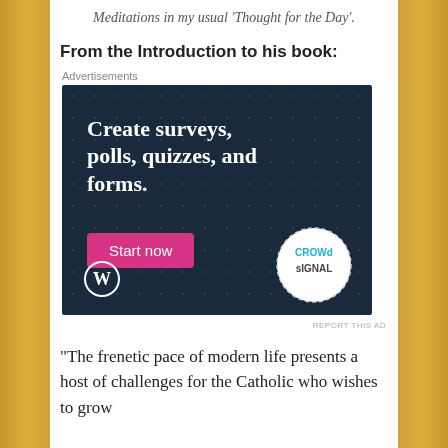Meditations in my usual 'Thought for the Day'.
From the Introduction to his book:
Advertisements
[Figure (screenshot): Advertisement banner for CrowdSignal on a dark navy dotted background. Large white serif text reads 'Create surveys, polls, quizzes, and forms.' A pink/magenta button says 'Start now'. WordPress logo in bottom left, CrowdSignal logo circle in bottom right.]
REPORT THIS AD
“The frenetic pace of modern life presents a host of challenges for the Catholic who wishes to grow